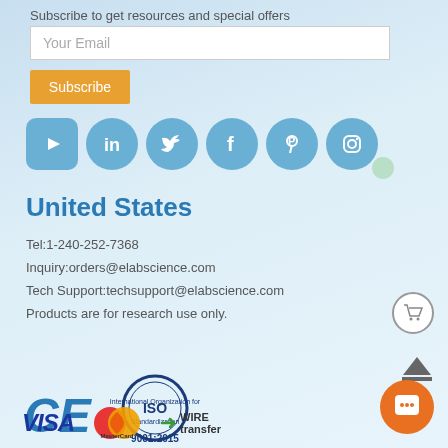Subscribe to get resources and special offers
Your Email
Subscribe
[Figure (infographic): Social media icons: YouTube (play button), LinkedIn, Twitter, Facebook, Pinterest, Instagram — all in blue circular/rounded square shapes]
United States
Tel:1-240-252-7368
Inquiry:orders@elabscience.com
Tech Support:techsupport@elabscience.com
Products are for research use only.
[Figure (logo): CE mark logo and ISO 9001:2015 certification logo]
[Figure (logo): VISA, MasterCard, and WIRE transfer payment method logos]